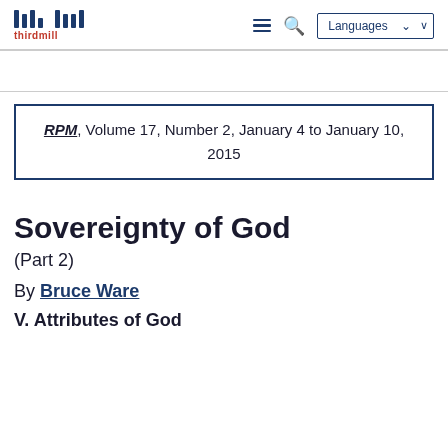thirdmill | Languages
RPM, Volume 17, Number 2, January 4 to January 10, 2015
Sovereignty of God
(Part 2)
By Bruce Ware
V. Attributes of God